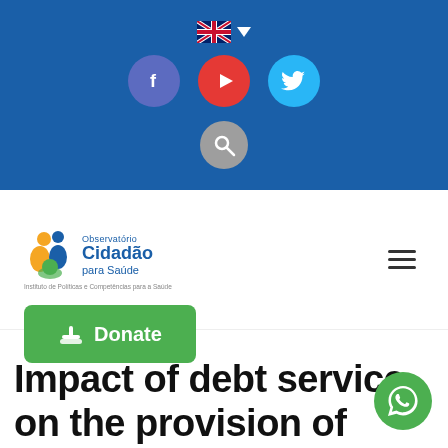[Figure (screenshot): Website header bar with UK flag language selector, social media buttons (Facebook, YouTube, Twitter), and a search button on a blue background]
[Figure (logo): Observatório Cidadão para Saúde logo with colorful figure icon and blue text]
Donate
Impact of debt service on the provision of health services